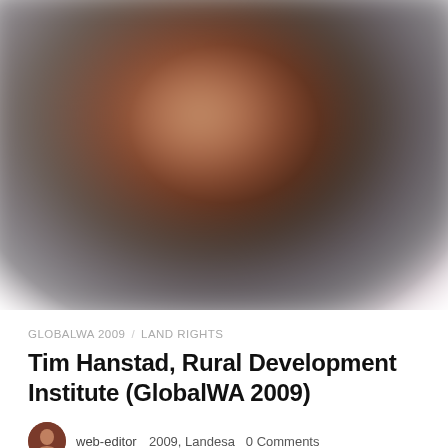[Figure (photo): Blurred/obscured photograph of a person, dark tones with warm center]
GLOBALWA 2009  /  LAND RIGHTS
Tim Hanstad, Rural Development Institute (GlobalWA 2009)
web-editor  2009, Landesa  0 Comments
06/19/2010